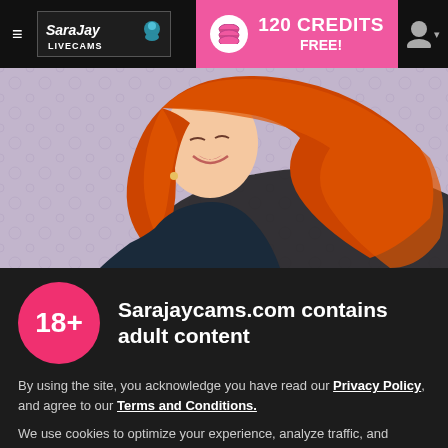≡ SaraJay LIVE CAMS | 120 CREDITS FREE!
[Figure (photo): Hero banner photo of a smiling red-haired woman with long flowing orange-red hair against a floral/textured light purple-grey background]
Sarajaycams.com contains adult content
By using the site, you acknowledge you have read our Privacy Policy, and agree to our Terms and Conditions.
We use cookies to optimize your experience, analyze traffic, and deliver more personalized service. To learn more, please see our Privacy Policy.
I AGREE